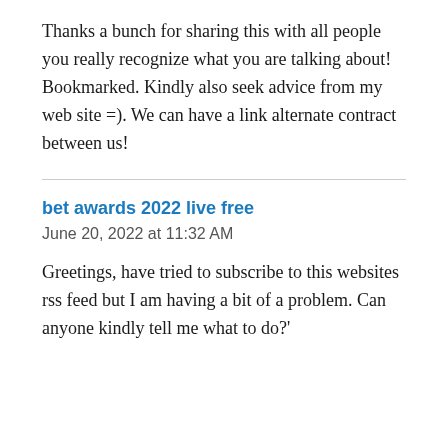Thanks a bunch for sharing this with all people you really recognize what you are talking about! Bookmarked. Kindly also seek advice from my web site =). We can have a link alternate contract between us!
bet awards 2022 live free
June 20, 2022 at 11:32 AM
Greetings, have tried to subscribe to this websites rss feed but I am having a bit of a problem. Can anyone kindly tell me what to do?'